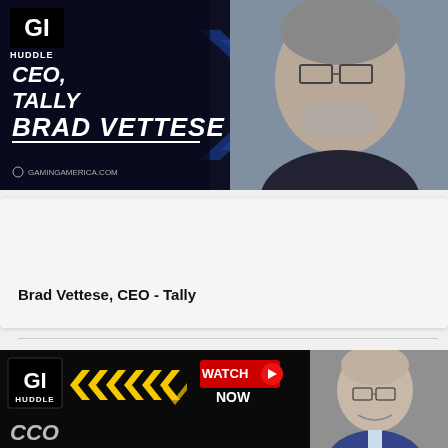[Figure (screenshot): GI Huddle video thumbnail showing CEO Brad Vettese of Tally. Dark blue background with chevron graphics, GI Huddle logo top-left, WATCH NOW badge top-right, man with glasses and beard visible on right side. Text reads CEO, TALLY and BRAD VETTESE with GAMINGAMERICA.COM at bottom.]
[Figure (screenshot): Interview card with play button triangle icon, yellow INTERVIEW badge, episode number Ep. #0027, and title Brad Vettese, CEO - Tally]
INTERVIEW Ep. #0027
Brad Vettese, CEO - Tally
[Figure (screenshot): GI Huddle video thumbnail for second interview. Black background with yellow chevron arrows, GI Huddle logo, WATCH NOW badge with red circle/play icon. Bald man with glasses in suit visible on right. Partial text CCO visible at bottom left.]